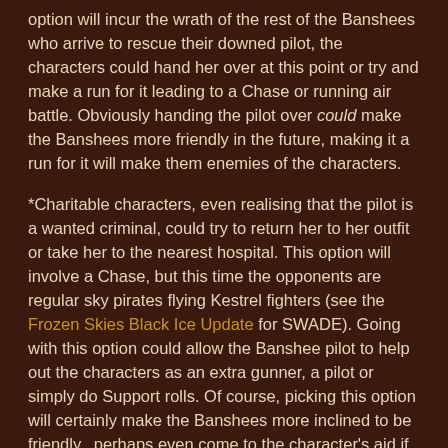option will incur the wrath of the rest of the Banshees who arrive to rescue their downed pilot, the characters could hand her over at this point or try and make a run for it leading to a Chase or running air battle. Obviously handing the pilot over could make the Banshees more friendly in the future, making it a run for it will make them enemies of the characters.
*Charitable characters, even realising that the pilot is a wanted criminal, could try to return her to her outfit or take her to the nearest hospital. This option will involve a Chase, but this time the opponents are regular sky pirates flying Kestrel fighters (see the Frozen Skies Black Ice Update for SWADE). Going with this option could allow the Banshee pilot to help out the characters as an extra gunner, a pilot or simply do Support rolls. Of course, picking this option will certainly make the Banshees more inclined to be friendly...perhaps even come to the character's aid if they're really struggling.
And there you have it, a nice and simple adventure that's straightforward enough to run and will hopefully provide